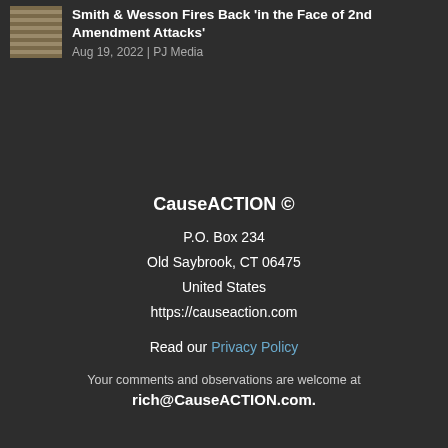Smith & Wesson Fires Back 'in the Face of 2nd Amendment Attacks'
Aug 19, 2022 | PJ Media
CauseACTION ©
P.O. Box 234
Old Saybrook, CT 06475
United States
https://causeaction.com
Read our Privacy Policy
Your comments and observations are welcome at
rich@CauseACTION.com.